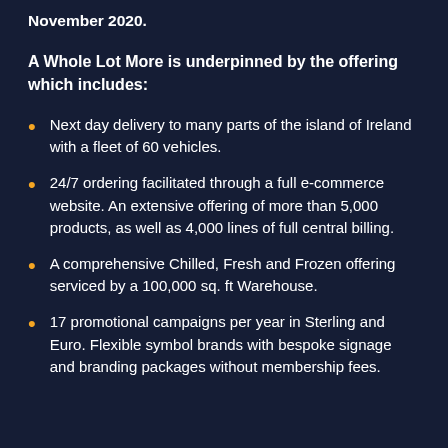November 2020.
A Whole Lot More is underpinned by the offering which includes:
Next day delivery to many parts of the island of Ireland with a fleet of 60 vehicles.
24/7 ordering facilitated through a full e-commerce website. An extensive offering of more than 5,000 products, as well as 4,000 lines of full central billing.
A comprehensive Chilled, Fresh and Frozen offering serviced by a 100,000 sq. ft Warehouse.
17 promotional campaigns per year in Sterling and Euro. Flexible symbol brands with bespoke signage and branding packages without membership fees.